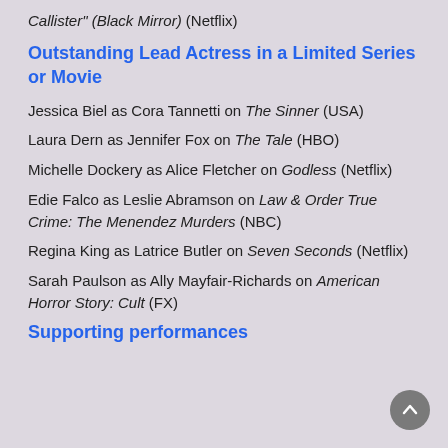Callister" (Black Mirror) (Netflix)
Outstanding Lead Actress in a Limited Series or Movie
Jessica Biel as Cora Tannetti on The Sinner (USA)
Laura Dern as Jennifer Fox on The Tale (HBO)
Michelle Dockery as Alice Fletcher on Godless (Netflix)
Edie Falco as Leslie Abramson on Law & Order True Crime: The Menendez Murders (NBC)
Regina King as Latrice Butler on Seven Seconds (Netflix)
Sarah Paulson as Ally Mayfair-Richards on American Horror Story: Cult (FX)
Supporting performances